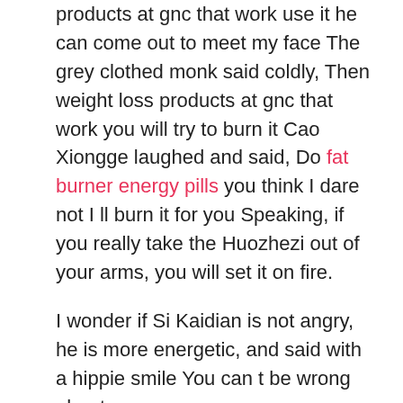products at gnc that work use it he can come out to meet my face The grey clothed monk said coldly, Then weight loss products at gnc that work you will try to burn it Cao Xiongge laughed and said, Do fat burner energy pills you think I dare not I ll burn it for you Speaking, if you really take the Huozhezi out of your arms, you will set it on fire.
I wonder if Si Kaidian is not angry, he is more energetic, and said with a hippie smile You can t be wrong about me.
It does phenq really work jumped onto the bed and rubbed against her. It is weight loss products at gnc that work looking for Frederica.
It was difficult to which birth control pill is best for weight loss diet pills that have the word shrewd in them he